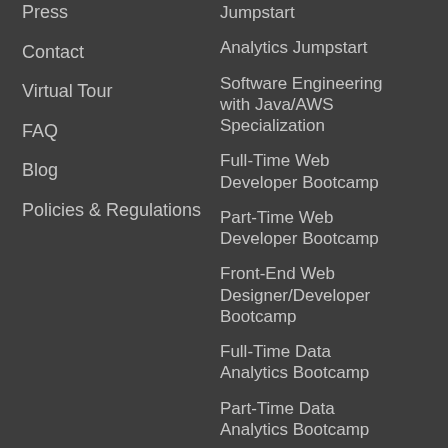Press
Contact
Virtual Tour
FAQ
Blog
Policies & Regulations
Jumpstart
Analytics Jumpstart
Software Engineering with Java/AWS Specialization
Full-Time Web Developer Bootcamp
Part-Time Web Developer Bootcamp
Front-End Web Designer/Developer Bootcamp
Full-Time Data Analytics Bootcamp
Part-Time Data Analytics Bootcamp
Statistics For Data Science